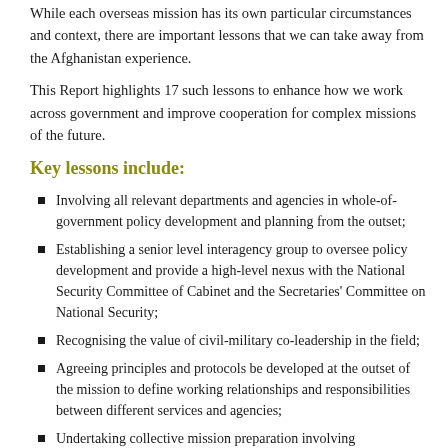While each overseas mission has its own particular circumstances and context, there are important lessons that we can take away from the Afghanistan experience.
This Report highlights 17 such lessons to enhance how we work across government and improve cooperation for complex missions of the future.
Key lessons include:
Involving all relevant departments and agencies in whole-of-government policy development and planning from the outset;
Establishing a senior level interagency group to oversee policy development and provide a high-level nexus with the National Security Committee of Cabinet and the Secretaries' Committee on National Security;
Recognising the value of civil-military co-leadership in the field;
Agreeing principles and protocols be developed at the outset of the mission to define working relationships and responsibilities between different services and agencies;
Undertaking collective mission preparation involving